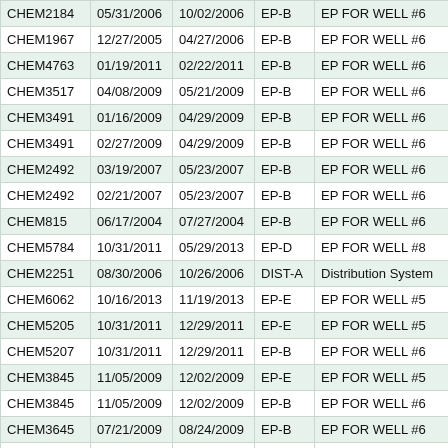| CHEM2184 | 05/31/2006 | 10/02/2006 | EP-B | EP FOR WELL #6 | CH |
| CHEM1967 | 12/27/2005 | 04/27/2006 | EP-B | EP FOR WELL #6 | CH |
| CHEM4763 | 01/19/2011 | 02/22/2011 | EP-B | EP FOR WELL #6 | CH |
| CHEM3517 | 04/08/2009 | 05/21/2009 | EP-B | EP FOR WELL #6 | CH |
| CHEM3491 | 01/16/2009 | 04/29/2009 | EP-B | EP FOR WELL #6 | CH |
| CHEM3491 | 02/27/2009 | 04/29/2009 | EP-B | EP FOR WELL #6 | CH |
| CHEM2492 | 03/19/2007 | 05/23/2007 | EP-B | EP FOR WELL #6 | CH |
| CHEM2492 | 02/21/2007 | 05/23/2007 | EP-B | EP FOR WELL #6 | CH |
| CHEM815 | 06/17/2004 | 07/27/2004 | EP-B | EP FOR WELL #6 | CH |
| CHEM5784 | 10/31/2011 | 05/29/2013 | EP-D | EP FOR WELL #8 | CH |
| CHEM2251 | 08/30/2006 | 10/26/2006 | DIST-A | Distribution System | CH |
| CHEM6062 | 10/16/2013 | 11/19/2013 | EP-E | EP FOR WELL #5 | CH |
| CHEM5205 | 10/31/2011 | 12/29/2011 | EP-E | EP FOR WELL #5 | CH |
| CHEM5207 | 10/31/2011 | 12/29/2011 | EP-B | EP FOR WELL #6 | CH |
| CHEM3845 | 11/05/2009 | 12/02/2009 | EP-E | EP FOR WELL #5 | CH |
| CHEM3845 | 11/05/2009 | 12/02/2009 | EP-B | EP FOR WELL #6 | CH |
| CHEM3645 | 07/21/2009 | 08/24/2009 | EP-B | EP FOR WELL #6 | CH |
| CHEM3491 | 01/22/2009 | 04/29/2009 | EP-B | EP FOR WELL #6 | CH |
| CHEM3491 | 01/22/2009 | 04/29/2009 | EP-B | EP FOR WELL #6 | CH |
| CHEM3333 | 12/19/2008 | 01/22/2009 | EP-B | EP FOR WELL #6 | CH |
| CHEM2586 | 06/05/2007 | 08/14/2007 | EP-E | EP FOR WELL #5 | CH |
| CHEM2492 | 03/19/2007 | 05/23/2007 | EP-B | EP FOR WELL #6 | CH |
| CHEM2492 | 03/19/2007 | 05/23/2007 | EP-B | EP FOR WELL #6 | CH |